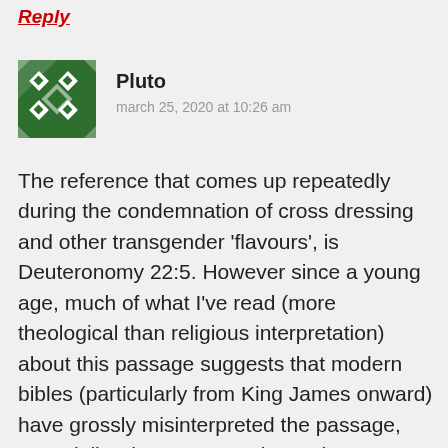Reply
[Figure (illustration): Green and white geometric pattern avatar for user Pluto]
Pluto
march 25, 2020 at 10:26 am
The reference that comes up repeatedly during the condemnation of cross dressing and other transgender 'flavours', is Deuteronomy 22:5. However since a young age, much of what I've read (more theological than religious interpretation) about this passage suggests that modern bibles (particularly from King James onward) have grossly misinterpreted the passage, especially when compared to Hebrew versions of the Bible. An example can be found at:
https://hermeneutics.stackexchange.com/qu